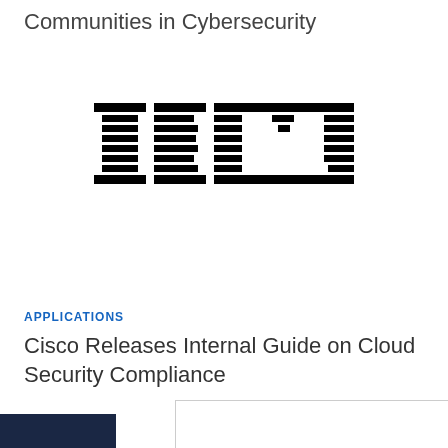Communities in Cybersecurity
[Figure (logo): IBM logo — the classic IBM striped logotype in black horizontal bars forming the letters I, B, M]
APPLICATIONS
Cisco Releases Internal Guide on Cloud Security Compliance